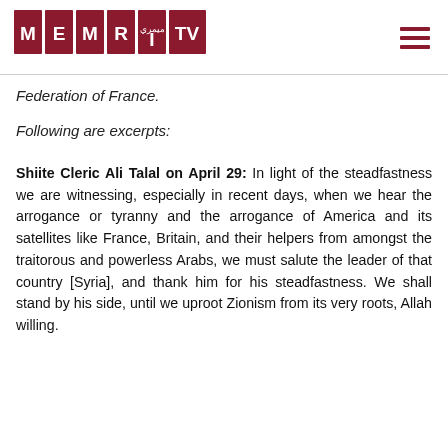[Figure (logo): MEMRI TV logo — red rectangular tiles spelling M E M R I in white, Arabic text, T V]
Federation of France.
Following are excerpts:
Shiite Cleric Ali Talal on April 29: In light of the steadfastness we are witnessing, especially in recent days, when we hear the arrogance or tyranny and the arrogance of America and its satellites like France, Britain, and their helpers from amongst the traitorous and powerless Arabs, we must salute the leader of that country [Syria], and thank him for his steadfastness. We shall stand by his side, until we uproot Zionism from its very roots, Allah willing.